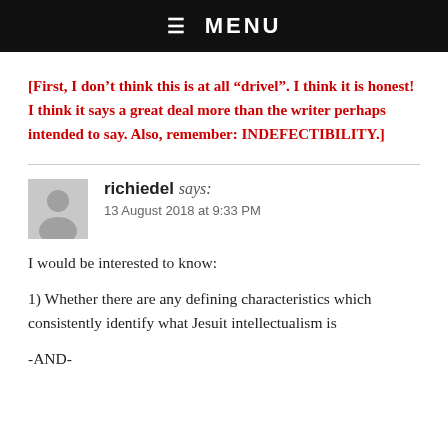☰ MENU
[First, I don't think this is at all “drivel”. I think it is honest! I think it says a great deal more than the writer perhaps intended to say. Also, remember: INDEFECTIBILITY.]
richiedel says:
13 August 2018 at 9:33 PM
I would be interested to know:
1) Whether there are any defining characteristics which consistently identify what Jesuit intellectualism is
-AND-
2) ...